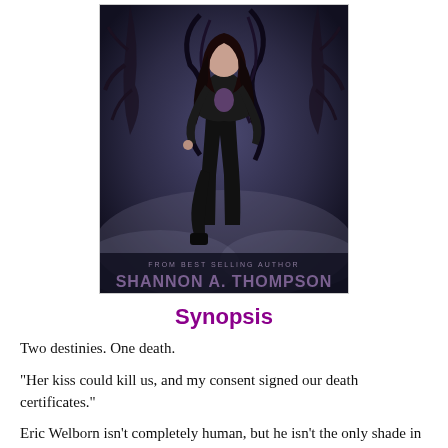[Figure (illustration): Book cover for a fantasy/paranormal novel by Shannon A. Thompson. Features a young woman with long dark hair dressed in black leather, standing with one leg raised against a dark, swirling background with bare tree branches. Text at the bottom reads 'FROM BEST SELLING AUTHOR' and 'SHANNON A. THOMPSON' in large stylized letters.]
Synopsis
Two destinies. One death.
"Her kiss could kill us, and my consent signed our death certificates."
Eric Welborn isn't completely human, but he isn't the only shade in